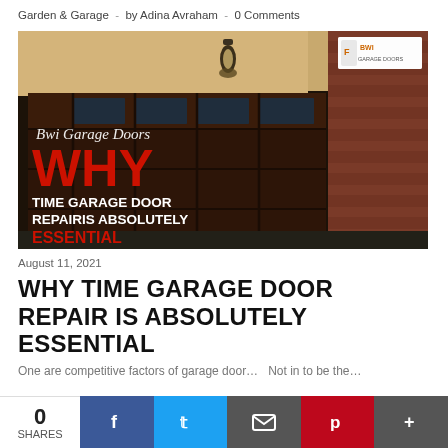Garden & Garage  -  by Adina Avraham  -  0 Comments
[Figure (photo): Promotional image showing a dark wooden garage door at night with a wall lamp. Text overlay reads 'Bwi Garage Doors WHY TIME GARAGE DOOR REPAIRIS ABSOLUTELY ESSENTIAL'. BWI Garage Doors logo in top right corner.]
August 11, 2021
WHY TIME GARAGE DOOR REPAIR IS ABSOLUTELY ESSENTIAL
One are competitive factors of garage door…  Not in to be the…